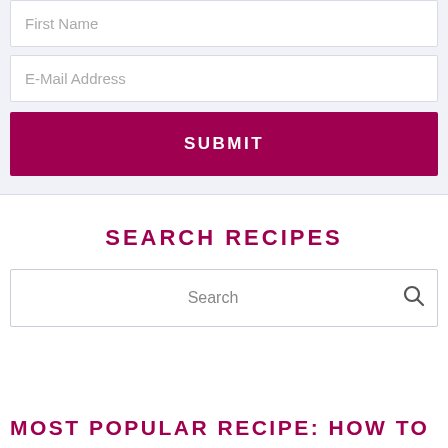First Name
E-Mail Address
SUBMIT
SEARCH RECIPES
Search
MOST POPULAR RECIPE: HOW TO